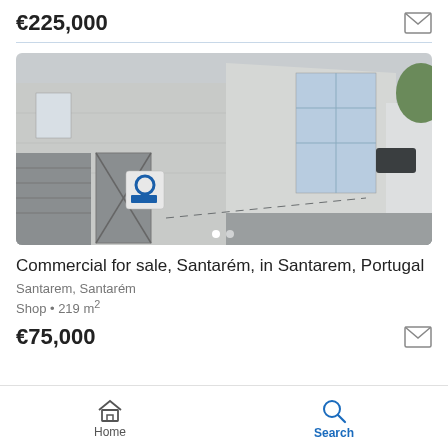€225,000
[Figure (photo): Street view photo of a commercial building in Santarém, Portugal. A grey/white multi-story building with latticed windows and a Coldwell Banker sign visible. Stone-paved street in foreground.]
Commercial for sale, Santarém, in Santarem, Portugal
Santarem, Santarém
Shop • 219 m²
€75,000
Home  Search